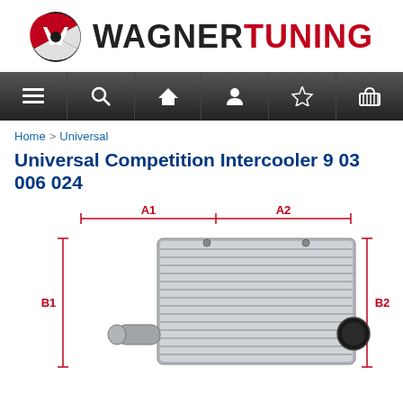[Figure (logo): Wagner Tuning logo with circular W emblem and WAGNERTUNING text]
[Figure (screenshot): Navigation bar with menu, search, home, account, wishlist, and cart icons on dark gradient background]
Home > Universal
Universal Competition Intercooler 9 03 006 024
[Figure (engineering-diagram): Partial engineering diagram of intercooler showing dimension labels A1, A2, B1, B2 with red bracket lines and grey intercooler unit with fins and inlet/outlet ports]